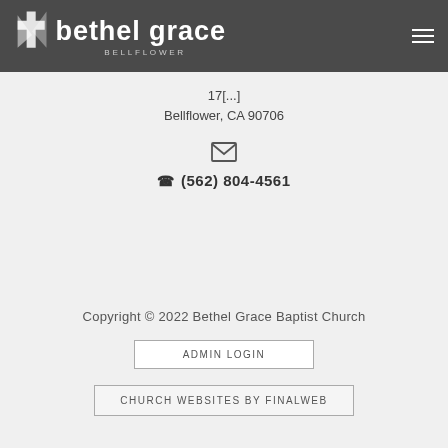Bethel Grace Bellflower — navigation header with logo and hamburger menu
17[...] Bellflower, CA 90706
[Figure (other): Envelope/email icon]
(562) 804-4561
Copyright © 2022 Bethel Grace Baptist Church
ADMIN LOGIN
CHURCH WEBSITES BY FINALWEB